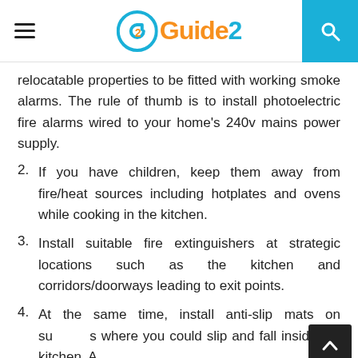Guide2
relocatable properties to be fitted with working smoke alarms. The rule of thumb is to install photoelectric fire alarms wired to your home's 240v mains power supply.
2. If you have children, keep them away from fire/heat sources including hotplates and ovens while cooking in the kitchen.
3. Install suitable fire extinguishers at strategic locations such as the kitchen and corridors/doorways leading to exit points.
4. At the same time, install anti-slip mats on surfaces where you could slip and fall inside the kitchen. A